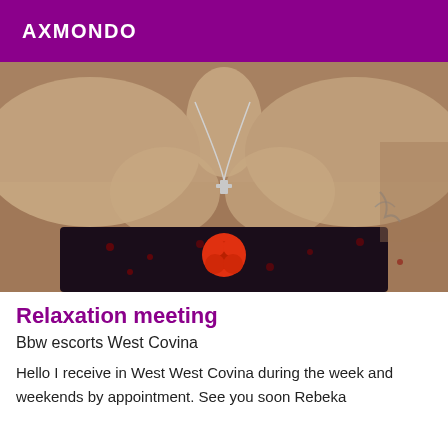AXMONDO
[Figure (photo): Close-up photo of a woman's upper body wearing a dark floral strapless top with a red fabric rose decoration and a silver necklace with a cross pendant. A tattoo is visible on her right arm.]
Relaxation meeting
Bbw escorts West Covina
Hello I receive in West West Covina during the week and weekends by appointment. See you soon Rebeka